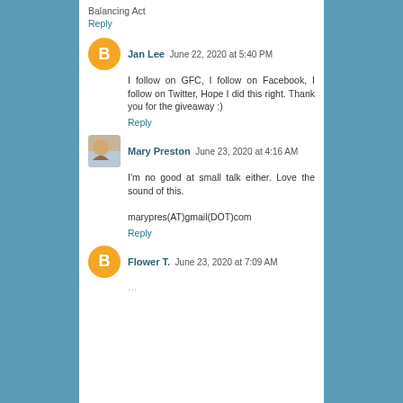Balancing Act
Reply
Jan Lee  June 22, 2020 at 5:40 PM
I follow on GFC, I follow on Facebook, I follow on Twitter, Hope I did this right. Thank you for the giveaway :)
Reply
Mary Preston  June 23, 2020 at 4:16 AM
I'm no good at small talk either. Love the sound of this.

marypres(AT)gmail(DOT)com
Reply
Flower T.  June 23, 2020 at 7:09 AM